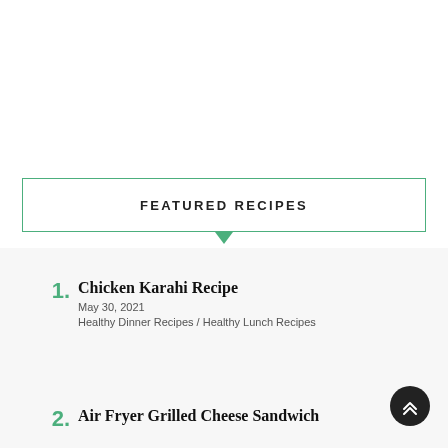FEATURED RECIPES
1. Chicken Karahi Recipe
May 30, 2021
Healthy Dinner Recipes / Healthy Lunch Recipes
2. Air Fryer Grilled Cheese Sandwich